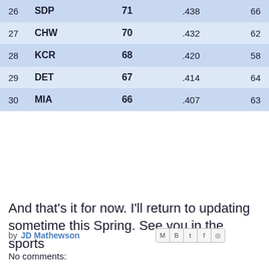| # | Team | W | Pct | L |
| --- | --- | --- | --- | --- |
| 26 | SDP | 71 | .438 | 66 |
| 27 | CHW | 70 | .432 | 62 |
| 28 | KCR | 68 | .420 | 58 |
| 29 | DET | 67 | .414 | 64 |
| 30 | MIA | 66 | .407 | 63 |
And that's it for now. I'll return to updating sometime this Spring. See you in the sports
by JD Mathewson
No comments: